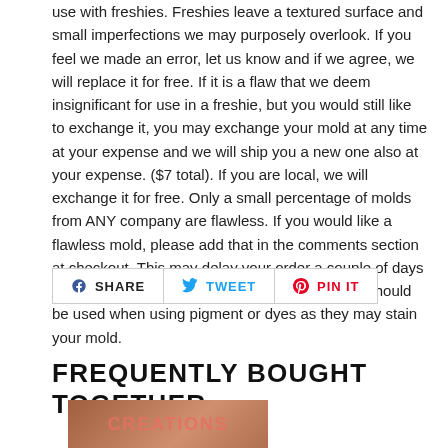use with freshies. Freshies leave a textured surface and small imperfections we may purposely overlook. If you feel we made an error, let us know and if we agree, we will replace it for free. If it is a flaw that we deem insignificant for use in a freshie, but you would still like to exchange it, you may exchange your mold at any time at your expense and we will ship you a new one also at your expense. ($7 total). If you are local, we will exchange it for free. Only a small percentage of molds from ANY company are flawless. If you would like a flawless mold, please add that in the comments section at checkout. This may delay your order a couple of days if we do not already have one in stock. Caution should be used when using pigment or dyes as they may stain your mold.
[Figure (other): Social sharing buttons: SHARE (Facebook), TWEET (Twitter), PIN IT (Pinterest)]
FREQUENTLY BOUGHT TOGETHER
[Figure (photo): Product image thumbnail showing a brownish/terracotta colored item with a circular logo/label]